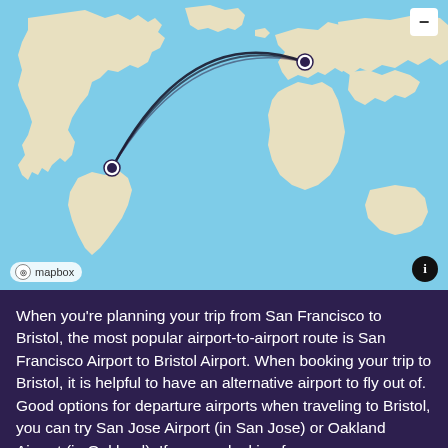[Figure (map): World map showing a flight route arc from San Francisco (western USA) to Bristol (UK), with two curved black arc lines connecting the two cities marked with dark circle pins. Mapbox attribution in bottom-left, info button in bottom-right, minus zoom button in top-right.]
When you're planning your trip from San Francisco to Bristol, the most popular airport-to-airport route is San Francisco Airport to Bristol Airport. When booking your trip to Bristol, it is helpful to have an alternative airport to fly out of. Good options for departure airports when traveling to Bristol, you can try San Jose Airport (in San Jose) or Oakland Airport (in Oakland). If you are looking f...